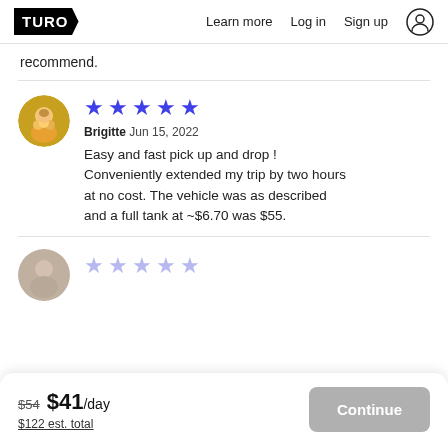TURO | Learn more | Log in | Sign up
recommend.
Brigitte Jun 15, 2022
Easy and fast pick up and drop ! Conveniently extended my trip by two hours at no cost. The vehicle was as described and a full tank at ~$6.70 was $55.
$54 $41/day
$122 est. total
Continue